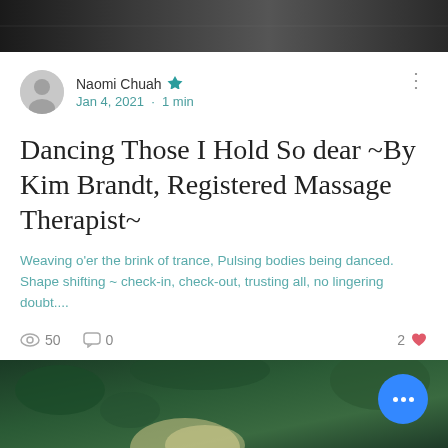[Figure (photo): Top banner image showing a dark abstract background, possibly a dancer or performer on a stage with dark tones]
Naomi Chuah Admin
Jan 4, 2021 · 1 min
Dancing Those I Hold So dear ~By Kim Brandt, Registered Massage Therapist~
Weaving o'er the brink of trance, Pulsing bodies being danced. Shape shifting ~ check-in, check-out, trusting all, no lingering doubt....
👁 50   💬 0   2 ♥
[Figure (photo): Bottom portion showing a blonde-haired person from behind/top, surrounded by green foliage, with a blue circular button with three white dots overlay]